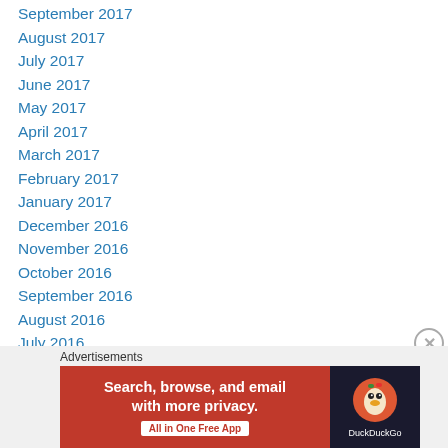September 2017
August 2017
July 2017
June 2017
May 2017
April 2017
March 2017
February 2017
January 2017
December 2016
November 2016
October 2016
September 2016
August 2016
July 2016
June 2016
May 2016
[Figure (screenshot): DuckDuckGo advertisement banner: 'Search, browse, and email with more privacy. All in One Free App' with DuckDuckGo logo on dark background.]